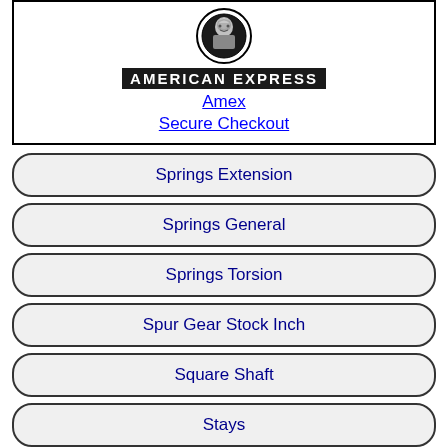[Figure (logo): American Express logo with centurion head icon and AMERICAN EXPRESS text, plus Amex Secure Checkout links]
Springs Extension
Springs General
Springs Torsion
Spur Gear Stock Inch
Square Shaft
Stays
Stops Spring
Strip
Stroke Rotary Bushings